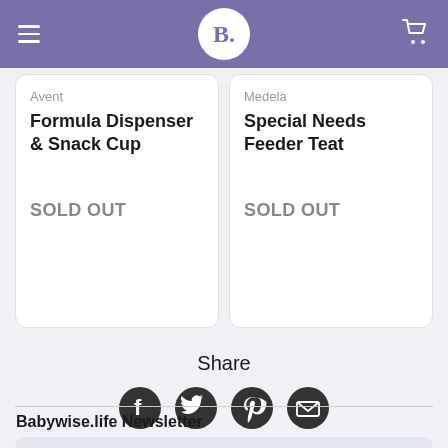B. (Babywise.life logo, hamburger menu, cart icon)
Avent
Formula Dispenser & Snack Cup
SOLD OUT
Medela
Special Needs Feeder Teat
SOLD OUT
Share
[Figure (infographic): Social share icons: Facebook, Twitter, Pinterest, Email]
Babywise.life Newsletter
Keep in touch